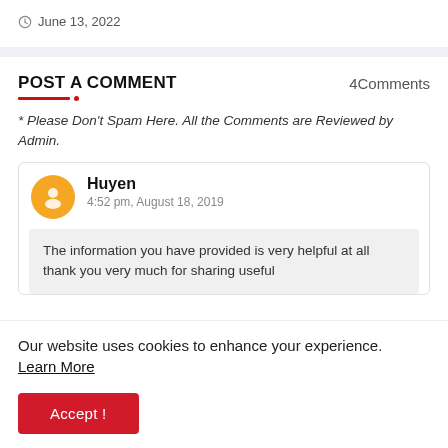June 13, 2022
POST A COMMENT
4Comments
* Please Don't Spam Here. All the Comments are Reviewed by Admin.
Huyen
4:52 pm, August 18, 2019
The information you have provided is very helpful at all thank you very much for sharing useful
Our website uses cookies to enhance your experience.
Learn More
Accept !